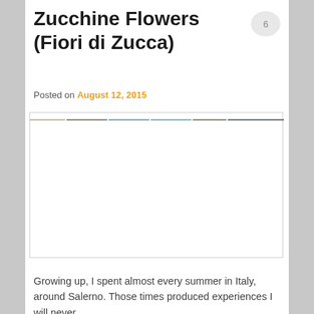Zucchine Flowers (Fiori di Zucca)
Posted on August 12, 2015
[Figure (photo): A placeholder image area with a thin decorative top border line in multicolor, representing a photo of Zucchine Flowers (Fiori di Zucca).]
Growing up, I spent almost every summer in Italy, around Salerno. Those times produced experiences I will never